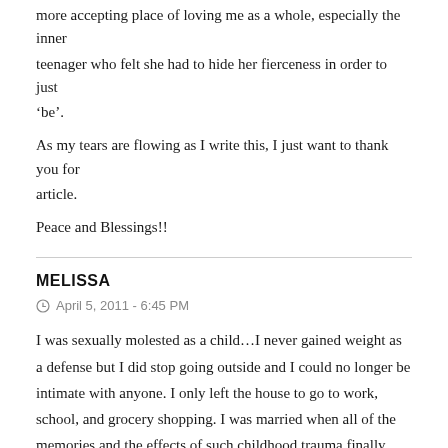more accepting place of loving me as a whole, especially the inner teenager who felt she had to hide her fierceness in order to just ‘be’.
As my tears are flowing as I write this, I just want to thank you for article.
Peace and Blessings!!
MELISSA
April 5, 2011 - 6:45 PM
I was sexually molested as a child…I never gained weight as a defense but I did stop going outside and I could no longer be intimate with anyone. I only left the house to go to work, school, and grocery shopping. I was married when all of the memories and the effects of such childhood trauma finally broke through the barrier that I had in my mind. It’s amazing how well the brain can defend or protect itself, but let me tell you.